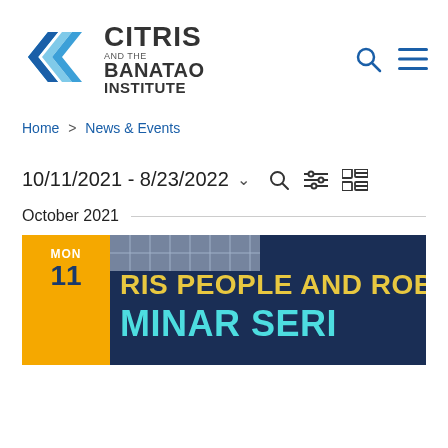[Figure (logo): CITRIS and the Banatao Institute logo with blue angular arrow/chevron icon on the left and text 'CITRIS AND THE BANATAO INSTITUTE' on the right]
Home > News & Events
10/11/2021 - 8/23/2022
October 2021
[Figure (screenshot): Event card for Monday Oct 11 showing 'RIS PEOPLE AND ROB' and 'MINAR SERI' text in yellow and teal on dark blue background]